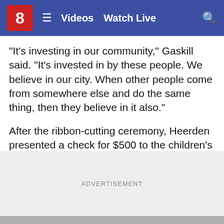8  ☰  Videos  Watch Live  🔍
"It's investing in our community," Gaskill said. "It's invested in by these people. We believe in our city. When other people come from somewhere else and do the same thing, then they believe in it also."
After the ribbon-cutting ceremony, Heerden presented a check for $500 to the children's home.
ADVERTISEMENT
Their hours will be 10:30 a.m. to 10:00 p.m. Sunday through Thursday and open on Friday and Saturday until 11:00 p.m.